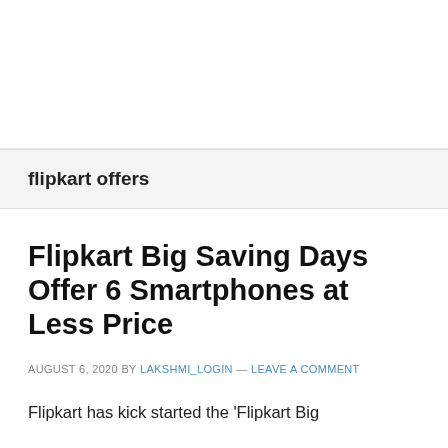[Figure (other): Advertisement/blank white area at top of page]
flipkart offers
Flipkart Big Saving Days Offer 6 Smartphones at Less Price
AUGUST 6, 2020 BY LAKSHMI_LOGIN — LEAVE A COMMENT
Flipkart has kick started the 'Flipkart Big